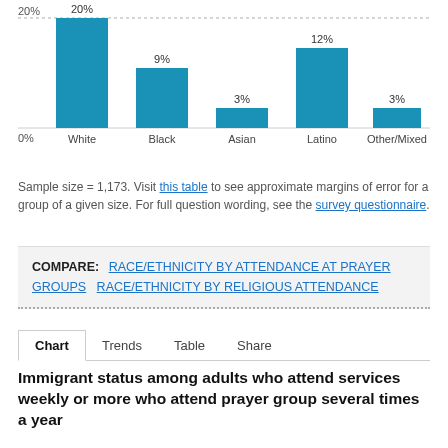[Figure (bar-chart): Race/Ethnicity by attendance at prayer groups]
Sample size = 1,173. Visit this table to see approximate margins of error for a group of a given size. For full question wording, see the survey questionnaire.
COMPARE: RACE/ETHNICITY BY ATTENDANCE AT PRAYER GROUPS   RACE/ETHNICITY BY RELIGIOUS ATTENDANCE
Chart   Trends   Table   Share
Immigrant status among adults who attend services weekly or more who attend prayer group several times a year